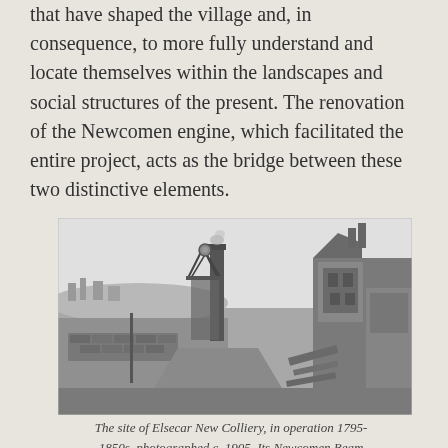that have shaped the village and, in consequence, to more fully understand and locate themselves within the landscapes and social structures of the present. The renovation of the Newcomen engine, which facilitated the entire project, acts as the bridge between these two distinctive elements.
[Figure (photo): Black and white historical photograph of the site of Elsecar New Colliery, showing industrial structures including a tall chimney stack emitting smoke, a headgear frame, and stone buildings to the right, with open landscape in the background. Photographed circa 1905.]
The site of Elsecar New Colliery, in operation 1795-1850s, photographed c. 1905. Its Newcomen Beam